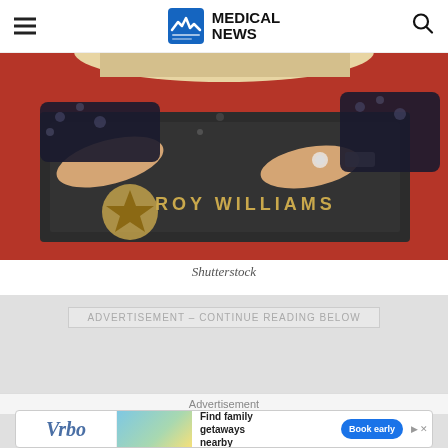MEDICAL NEWS
[Figure (photo): Person in floral dress kneeling on red carpet touching a Hollywood Walk of Fame star with 'ROY WILLIAMS' text inscribed on it]
Shutterstock
ADVERTISEMENT - CONTINUE READING BELOW
[Figure (infographic): Vrbo advertisement: Find family getaways nearby. Book early.]